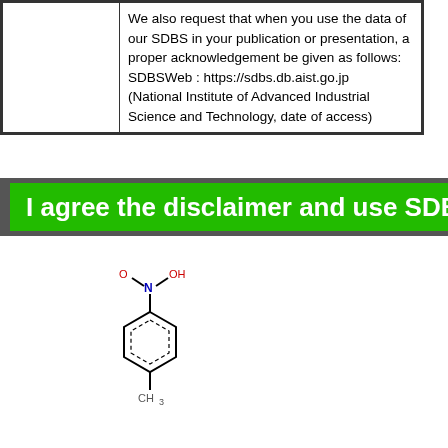|  | We also request that when you use the data of our SDBS in your publication or presentation, a proper acknowledgement be given as follows:
SDBSWeb : https://sdbs.db.aist.go.jp
(National Institute of Advanced Industrial Science and Technology, date of access) |
I agree the disclaimer and use SDBS
[Figure (illustration): Chemical structure diagram of 4-nitrotoluene (p-nitrotoluene): a benzene ring with a methyl group (CH3) at the para position and a nitro group (N with O and OH) at the top.]